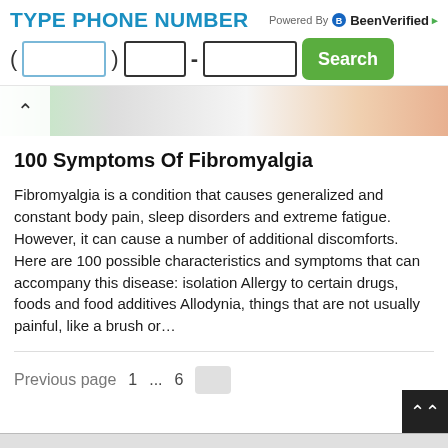TYPE PHONE NUMBER | Powered By BeenVerified
[Figure (screenshot): Phone number input form with area code box, middle box, last four digits box, and green Search button]
[Figure (photo): Partial photo strip showing a person, partially obscured, with a collapse/up chevron arrow on the left]
100 Symptoms Of Fibromyalgia
Fibromyalgia is a condition that causes generalized and constant body pain, sleep disorders and extreme fatigue. However, it can cause a number of additional discomforts. Here are 100 possible characteristics and symptoms that can accompany this disease: isolation Allergy to certain drugs, foods and food additives Allodynia, things that are not usually painful, like a brush or…
Previous page  1  ...  6